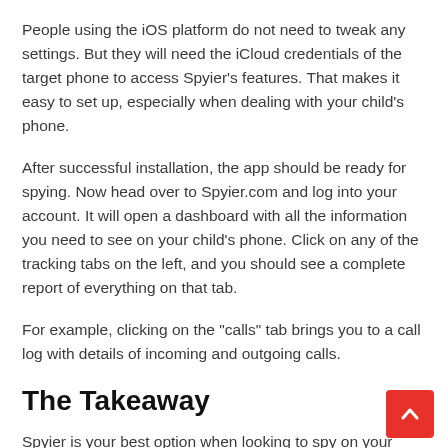People using the iOS platform do not need to tweak any settings. But they will need the iCloud credentials of the target phone to access Spyier's features. That makes it easy to set up, especially when dealing with your child's phone.
After successful installation, the app should be ready for spying. Now head over to Spyier.com and log into your account. It will open a dashboard with all the information you need to see on your child's phone. Click on any of the tracking tabs on the left, and you should see a complete report of everything on that tab.
For example, clicking on the "calls" tab brings you to a call log with details of incoming and outgoing calls.
The Takeaway
Spyier is your best option when looking to spy on your child's online activities. It tracks most messaging apps,